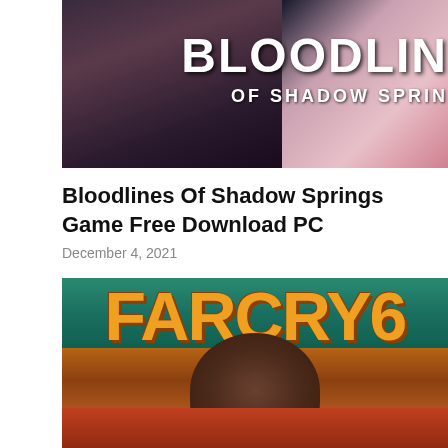[Figure (photo): Game cover image for Bloodlines Of Shadow Springs showing two people with text 'BLOODLINES OF SHADOW SPRINGS' overlay]
Bloodlines Of Shadow Springs Game Free Download PC
December 4, 2021
[Figure (photo): Game cover image for Far Cry 6 showing large yellow FARCRY6 text on teal background with a man's face below]